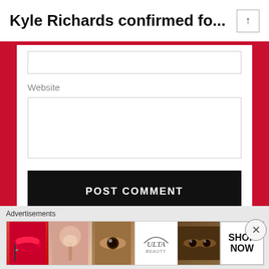Kyle Richards confirmed fo...
Website
POST COMMENT
Notify me of new comments via email.
Notify me of new posts via email.
Advertisements
[Figure (infographic): Ad banner strip showing beauty product images: lips with red lipstick, makeup brush, eye with mascara, Ulta Beauty logo, eyes with dramatic makeup, and a SHOP NOW call to action panel.]